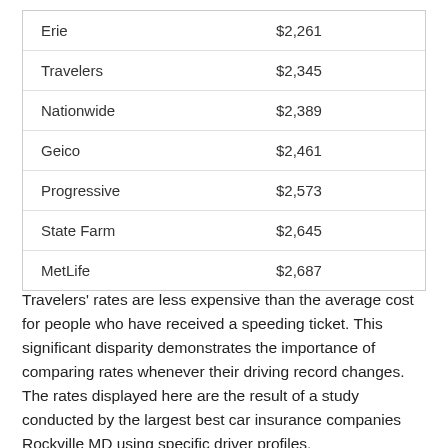| Erie | $2,261 |
| Travelers | $2,345 |
| Nationwide | $2,389 |
| Geico | $2,461 |
| Progressive | $2,573 |
| State Farm | $2,645 |
| MetLife | $2,687 |
Travelers' rates are less expensive than the average cost for people who have received a speeding ticket. This significant disparity demonstrates the importance of comparing rates whenever their driving record changes. The rates displayed here are the result of a study conducted by the largest best car insurance companies Rockville MD using specific driver profiles.